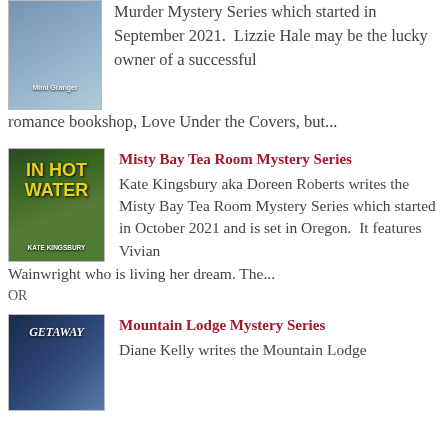[Figure (illustration): Book cover for a mystery novel with a dog and bookshop scene, author Mimi Granger]
Murder Mystery Series which started in September 2021.  Lizzie Hale may be the lucky owner of a successful romance bookshop, Love Under the Covers, but...
[Figure (illustration): Book cover 'In Hot Water' by Kate Kingsbury, with tea room imagery and yellow title text]
Misty Bay Tea Room Mystery Series
Kate Kingsbury aka Doreen Roberts writes the Misty Bay Tea Room Mystery Series which started in October 2021 and is set in Oregon.  It features Vivian Wainwright who is living her dream. The...
OR
[Figure (illustration): Book cover 'Getaway' with mountain lodge imagery in blue tones]
Mountain Lodge Mystery Series
Diane Kelly writes the Mountain Lodge